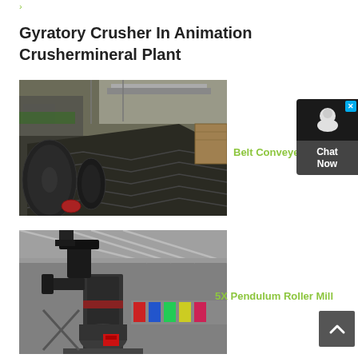Gyratory Crusher In Animation Crushermineral Plant
[Figure (photo): Photo of industrial belt conveyor system with chevron-patterned rubber belt, rollers, and conveyor structure in a factory/warehouse setting]
Belt Conveyer
[Figure (photo): Photo of 5X Pendulum Roller Mill industrial grinding machine in a large factory hall with steel structure visible in background]
5X Pendulum Roller Mill